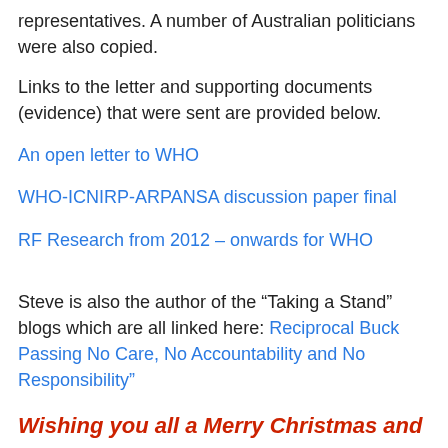representatives. A number of Australian politicians were also copied.
Links to the letter and supporting documents (evidence) that were sent are provided below.
An open letter to WHO
WHO-ICNIRP-ARPANSA discussion paper final
RF Research from 2012 – onwards for WHO
Steve is also the author of the “Taking a Stand” blogs which are all linked here: Reciprocal Buck Passing No Care, No Accountability and No Responsibility”
Wishing you all a Merry Christmas and